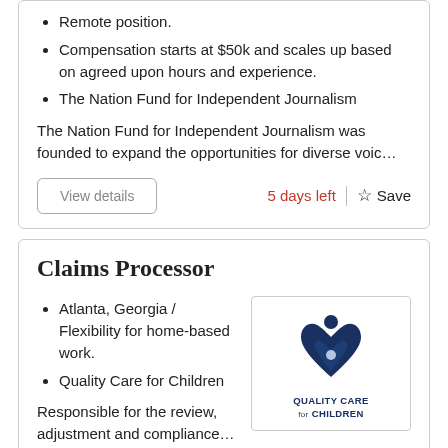Remote position.
Compensation starts at $50k and scales up based on agreed upon hours and experience.
The Nation Fund for Independent Journalism
The Nation Fund for Independent Journalism was founded to expand the opportunities for diverse voic…
View details
5 days left
Save
Claims Processor
Atlanta, Georgia / Flexibility for home-based work.
Quality Care for Children
[Figure (logo): Quality Care for Children logo — stylized heart and figure in dark blue with text 'Quality Care for Children']
Responsible for the review, adjustment and compliance…